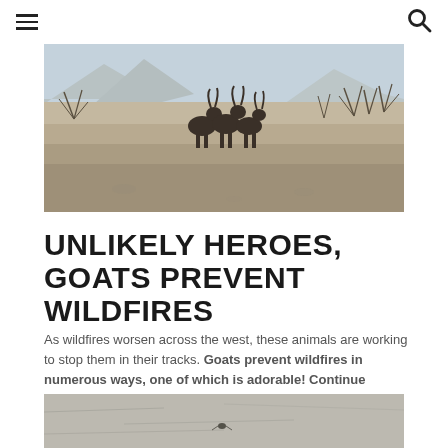[Figure (photo): Three bighorn sheep standing together in a dry desert landscape with rocky mountains and sparse brush in the background]
UNLIKELY HEROES, GOATS PREVENT WILDFIRES
As wildfires worsen across the west, these animals are working to stop them in their tracks. Goats prevent wildfires in numerous ways, one of which is adorable! Continue reading
[Figure (photo): Close-up photo of a rocky or textured surface, partially visible at bottom of page]